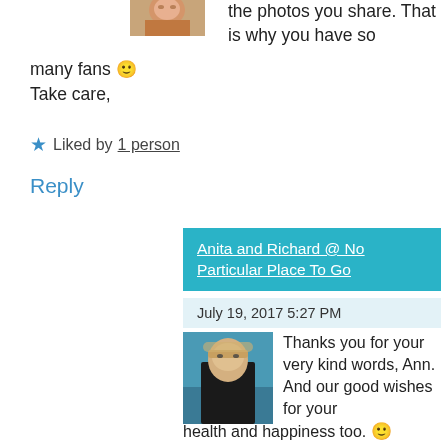[Figure (photo): Small avatar photo of a woman with reddish hair, cropped at top of page]
the photos you share. That is why you have so many fans 🙂 Take care,
★ Liked by 1 person
Reply
Anita and Richard @ No Particular Place To Go
July 19, 2017 5:27 PM
[Figure (photo): Avatar photo of a blonde woman with sunglasses standing near water]
Thanks you for your very kind words, Ann. And our good wishes for your health and happiness too. 🙂